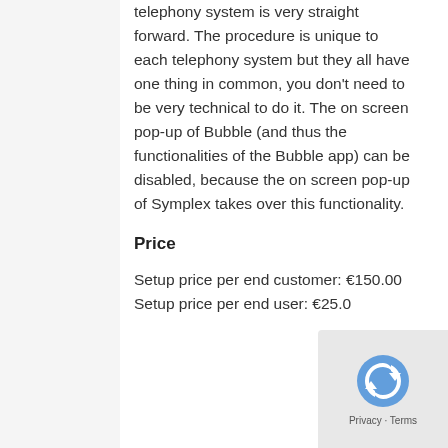telephony system is very straight forward. The procedure is unique to each telephony system but they all have one thing in common, you don't need to be very technical to do it. The on screen pop-up of Bubble (and thus the functionalities of the Bubble app) can be disabled, because the on screen pop-up of Symplex takes over this functionality.
Price
Setup price per end customer: €150.00
Setup price per end user: €25.0…